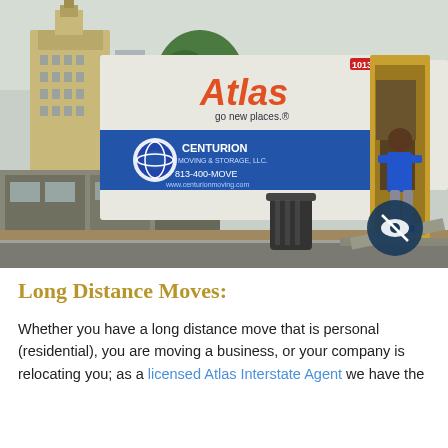[Figure (photo): An Atlas moving truck (Centurion Moving & Storage, LLC, phone 813-400-MOVE) with its rear ramp extended on a city street. A mover in a blue shirt is carrying items down the ramp. In the background is a tall ornate building and green trees.]
Long Distance Moves:
Whether you have a long distance move that is personal (residential), you are moving a business, or your company is relocating you; as a licensed Atlas Interstate Agent we have the